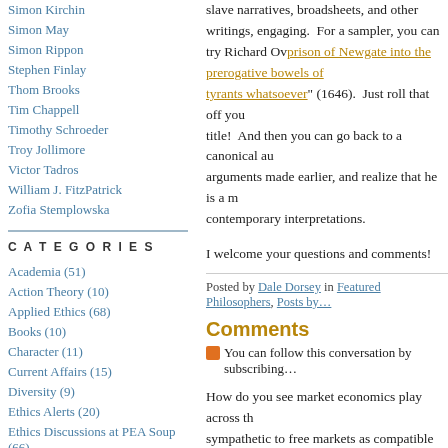Simon Kirchin
Simon May
Simon Rippon
Stephen Finlay
Thom Brooks
Tim Chappell
Timothy Schroeder
Troy Jollimore
Victor Tadros
William J. FitzPatrick
Zofia Stemplowska
CATEGORIES
Academia (51)
Action Theory (10)
Applied Ethics (68)
Books (10)
Character (11)
Current Affairs (15)
Diversity (9)
Ethics Alerts (20)
Ethics Discussions at PEA Soup (66)
Experimental Philosophy (25)
Featured Philosophers (23)
Feminist Ethics (4)
slave narratives, broadsheets, and other writings, engaging.  For a sampler, you can try Richard Ov... prison of Newgate into the prerogative bowels of tyrants whatsoever" (1646).  Just roll that off your title!  And then you can go back to a canonical au... arguments made earlier, and realize that he is a m... contemporary interpretations.
I welcome your questions and comments!
Posted by Dale Dorsey in Featured Philosophers, Posts by…
Comments
You can follow this conversation by subscribing…
How do you see market economics play across th... sympathetic to free markets as compatible with de... limiting bequest), and Rawls explicitly favors com... income inequality can work against fair equality o... by economic status.